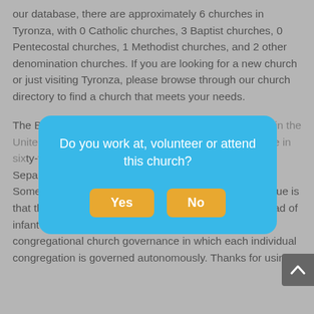our database, there are approximately 6 churches in Tyronza, with 0 Catholic churches, 3 Baptist churches, 0 Pentecostal churches, 1 Methodist churches, and 2 other denomination churches. If you are looking for a new church or just visiting Tyronza, please browse through our church directory to find a church that meets your needs.
The Baptist church is the largest church denomination in the United States with 47 million members. Baptists believe in sixty-three million... of Baptist churches... the Separatist Movement in 1608 that began in England. Something that makes the Baptist church's beliefs unique is that they believe in the baptism of adult believers instead of infant baptism. Baptist denominations follow a congregational church governance in which each individual congregation is governed autonomously. Thanks for using...
[Figure (screenshot): A modal dialog box with a blue background overlay asking 'Do you work at, volunteer or attend this church?' with Yes and No buttons in orange/yellow.]